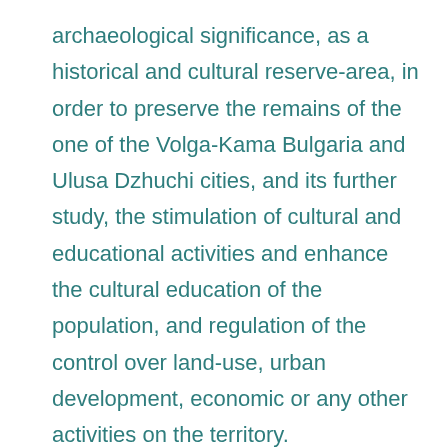archaeological significance, as a historical and cultural reserve-area, in order to preserve the remains of the one of the Volga-Kama Bulgaria and Ulusa Dzhuchi cities, and its further study, the stimulation of cultural and educational activities and enhance the cultural education of the population, and regulation of the control over land-use, urban development, economic or any other activities on the territory.
Historical and cultural reserve-area "Dzhuketau" includes: